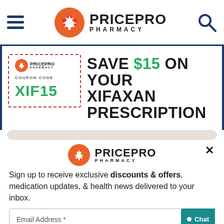[Figure (logo): PricePro Pharmacy logo with orange maple leaf circle and bold text, header navigation with hamburger menu and search icon]
[Figure (infographic): Coupon banner: dashed-border coupon box with PricePro Pharmacy logo, COUPON CODE label, code XIF15 in green. Text: SAVE $15 ON YOUR XIFAXAN PRESCRIPTION in bold uppercase]
[Figure (logo): PricePro Pharmacy logo centered in modal popup]
Sign up to receive exclusive discounts & offers, medication updates, & health news delivered to your inbox.
Email Address *